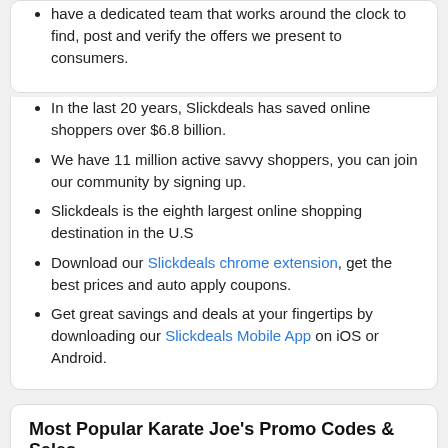have a dedicated team that works around the clock to find, post and verify the offers we present to consumers.
In the last 20 years, Slickdeals has saved online shoppers over $6.8 billion.
We have 11 million active savvy shoppers, you can join our community by signing up.
Slickdeals is the eighth largest online shopping destination in the U.S
Download our Slickdeals chrome extension, get the best prices and auto apply coupons.
Get great savings and deals at your fingertips by downloading our Slickdeals Mobile App on iOS or Android.
Most Popular Karate Joe's Promo Codes & Sales
1  Karate Joe's Coupons and Promo Codes for August  Ongoing